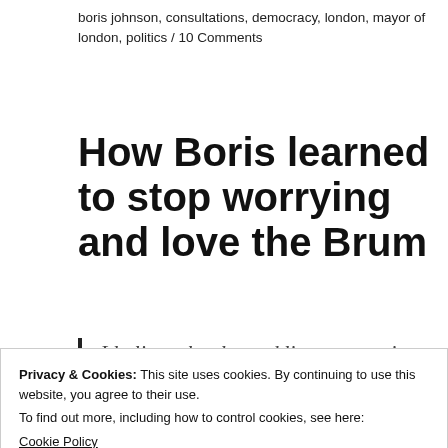boris johnson, consultations, democracy, london, mayor of london, politics / 10 Comments
How Boris learned to stop worrying and love the Brum
I believe that by tackling congestion, we will tackle emissions. Cars that are moving emit less CO2 than those that
Privacy & Cookies: This site uses cookies. By continuing to use this website, you agree to their use.
To find out more, including how to control cookies, see here:
Cookie Policy
Close and accept
Livingstone's £25 charge on large